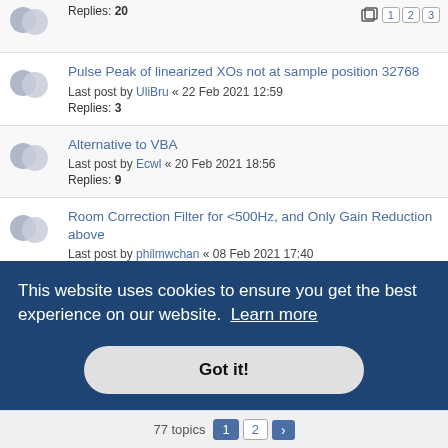Replies: 20
Pulse Peak of linearized XOs not at sample position 32768
Last post by UliBru « 22 Feb 2021 12:59
Replies: 3
Alternative to VBA
Last post by Ecwl « 20 Feb 2021 18:56
Replies: 9
Room Correction Filter for <500Hz, and Only Gain Reduction above
Last post by philmwchan « 08 Feb 2021 17:40
Replies: 3
Mic alignment feature of Acourate
Last post by UliBru « 27 Nov 2020 16:08
This website uses cookies to ensure you get the best experience on our website. Learn more
Got it!
77 topics  1  2  →